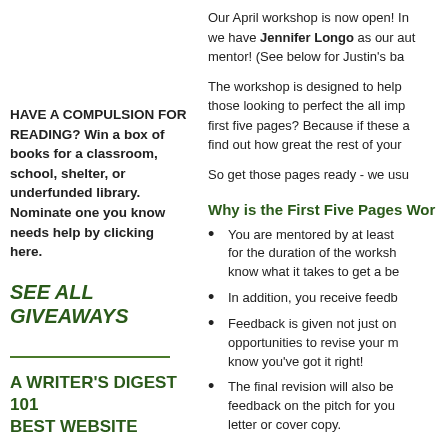HAVE A COMPULSION FOR READING? Win a box of books for a classroom, school, shelter, or underfunded library. Nominate one you know needs help by clicking here.
SEE ALL GIVEAWAYS
A WRITER'S DIGEST 101 BEST WEBSITE
Our April workshop is now open! In addition, we have Jennifer Longo as our author mentor! (See below for Justin's ba...
The workshop is designed to help those looking to perfect the all imp... first five pages? Because if these a... find out how great the rest of your ...
So get those pages ready - we usu...
Why is the First Five Pages Wor...
You are mentored by at least... for the duration of the worksh... know what it takes to get a be...
In addition, you receive feedb...
Feedback is given not just on... opportunities to revise your m... know you've got it right!
The final revision will also be... feedback on the pitch for you... letter or cover copy.